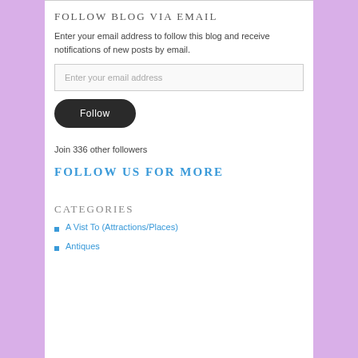FOLLOW BLOG VIA EMAIL
Enter your email address to follow this blog and receive notifications of new posts by email.
Enter your email address
Follow
Join 336 other followers
FOLLOW US FOR MORE
CATEGORIES
A Vist To (Attractions/Places)
Antiques